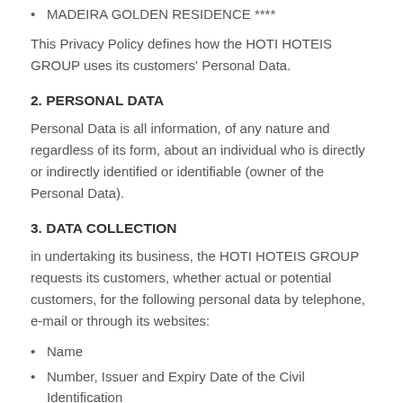MADEIRA GOLDEN RESIDENCE ****
This Privacy Policy defines how the HOTI HOTEIS GROUP uses its customers' Personal Data.
2. PERSONAL DATA
Personal Data is all information, of any nature and regardless of its form, about an individual who is directly or indirectly identified or identifiable (owner of the Personal Data).
3. DATA COLLECTION
in undertaking its business, the HOTI HOTEIS GROUP requests its customers, whether actual or potential customers, for the following personal data by telephone, e-mail or through its websites:
Name
Number, Issuer and Expiry Date of the Civil Identification